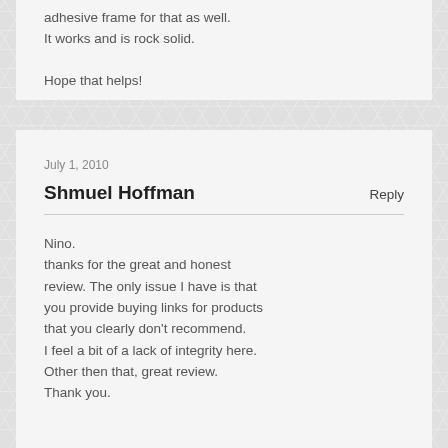adhesive frame for that as well. It works and is rock solid.

Hope that helps!
July 1, 2010
Shmuel Hoffman
Reply
Nino.
thanks for the great and honest review. The only issue I have is that you provide buying links for products that you clearly don't recommend. I feel a bit of a lack of integrity here. Other then that, great review. Thank you.